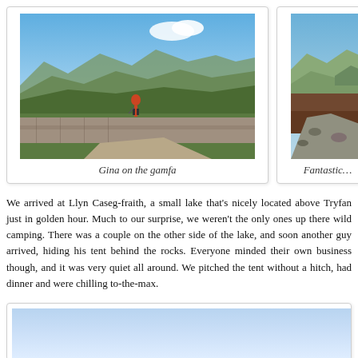[Figure (photo): Hiker (Gina) standing on a stone wall path called the gamfa, with a panoramic view of green Welsh mountains under a blue sky]
Gina on the gamfa
[Figure (photo): Partial view of a mountain trail with rocks, brown heather, and green hills, partially cropped]
Fantastic…
We arrived at Llyn Caseg-fraith, a small lake that's nicely located above Tryfan just in golden hour. Much to our surprise, we weren't the only ones up there wild camping. There was a couple on the other side of the lake, and soon another guy arrived, hiding his tent behind the rocks. Everyone minded their own business though, and it was very quiet all around. We pitched the tent without a hitch, had dinner and were chilling to-the-max.
[Figure (photo): Blue sky landscape photo, partially visible, showing light blue gradient sky]